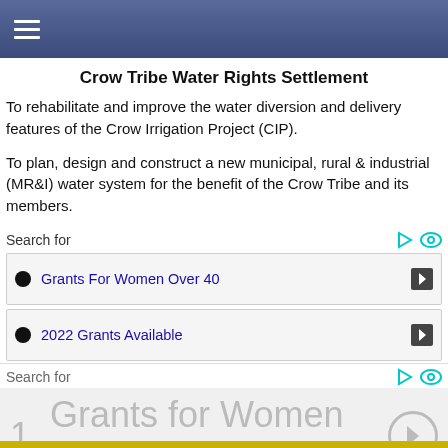≡ (navigation menu)
Crow Tribe Water Rights Settlement
To rehabilitate and improve the water diversion and delivery features of the Crow Irrigation Project (CIP).
To plan, design and construct a new municipal, rural & industrial (MR&I) water system for the benefit of the Crow Tribe and its members.
Search for
[Figure (screenshot): Ad box with bullet: Grants For Women Over 40 with arrow button]
[Figure (screenshot): Ad box with bullet: 2022 Grants Available with arrow button]
Search for
1.  Grants for Women Over 40 ❯